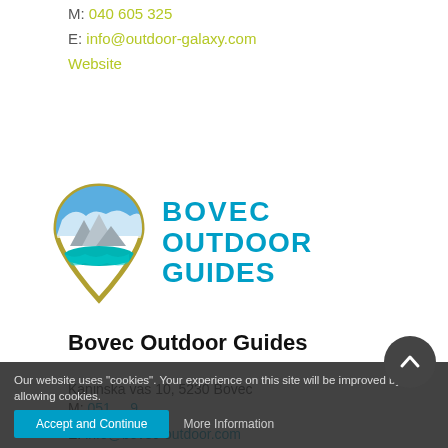M: 040 605 325
E: info@outdoor-galaxy.com
Website
[Figure (logo): Bovec Outdoor Guides logo: a map pin shape with mountains and water inside, olive/gold border, beside bold cyan text reading BOVEC OUTDOOR GUIDES]
Bovec Outdoor Guides
Kaninska vas 10, 5230 Bovec
M: 051 ... 9
E: info@bovec-outdoor.com
Our website uses "cookies". Your experience on this site will be improved by allowing cookies.
Accept and Continue
More Information